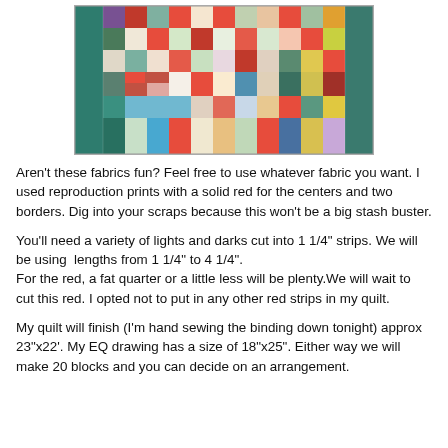[Figure (photo): A colorful patchwork quilt with red, green, blue, white, and plaid fabric squares arranged in a log cabin-style pattern.]
Aren't these fabrics fun? Feel free to use whatever fabric you want. I used reproduction prints with a solid red for the centers and two borders. Dig into your scraps because this won't be a big stash buster.
You'll need a variety of lights and darks cut into 1 1/4" strips. We will be using  lengths from 1 1/4" to 4 1/4".
For the red, a fat quarter or a little less will be plenty.We will wait to cut this red. I opted not to put in any other red strips in my quilt.
My quilt will finish (I'm hand sewing the binding down tonight) approx 23"x22'. My EQ drawing has a size of 18"x25". Either way we will make 20 blocks and you can decide on an arrangement.